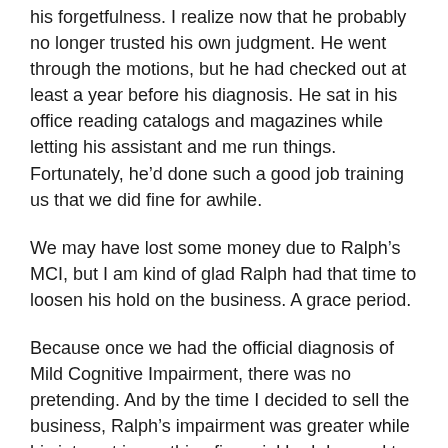his forgetfulness. I realize now that he probably no longer trusted his own judgment. He went through the motions, but he had checked out at least a year before his diagnosis. He sat in his office reading catalogs and magazines while letting his assistant and me run things. Fortunately, he'd done such a good job training us that we did fine for awhile.
We may have lost some money due to Ralph's MCI, but I am kind of glad Ralph had that time to loosen his hold on the business. A grace period.
Because once we had the official diagnosis of Mild Cognitive Impairment, there was no pretending. And by the time I decided to sell the business, Ralph's impairment was greater while his interest in anything financial had dropped to zero. The man who loved to spend days doing profit loss projections can no longer figure the tip on a restaurant tab.